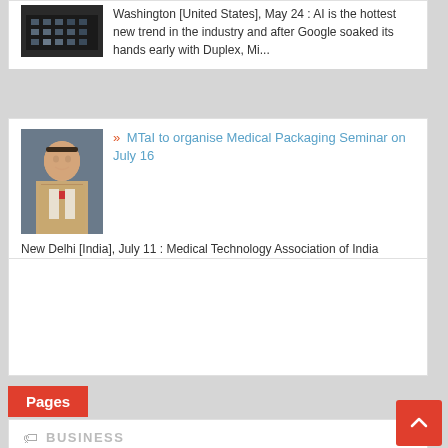Washington [United States], May 24 : AI is the hottest new trend in the industry and after Google soaked its hands early with Duplex, Mi...
[Figure (photo): Portrait photo of a man in a suit, appearing to be at a press event or conference]
MTaI to organise Medical Packaging Seminar on July 16
New Delhi [India], July 11 : Medical Technology Association of India (MTaI), an association of research-based medical technology companie...
[Figure (other): Empty white advertisement block]
Pages
BUSINESS